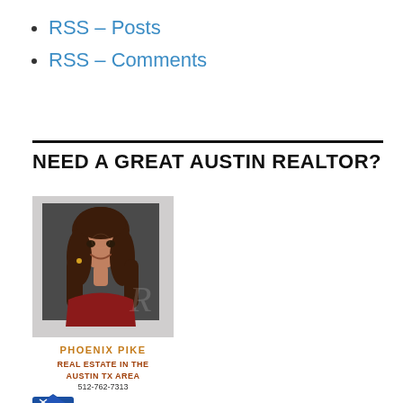RSS – Posts
RSS – Comments
NEED A GREAT AUSTIN REALTOR?
[Figure (photo): Professional headshot photo of Phoenix Pike, a woman with long brown hair wearing a red top, smiling at the camera against a dark background.]
PHOENIX PIKE
REAL ESTATE IN THE AUSTIN TX AREA
512-762-7313
[Figure (logo): eXp Realty logo with blue house icon and orange/yellow 'exp' text]